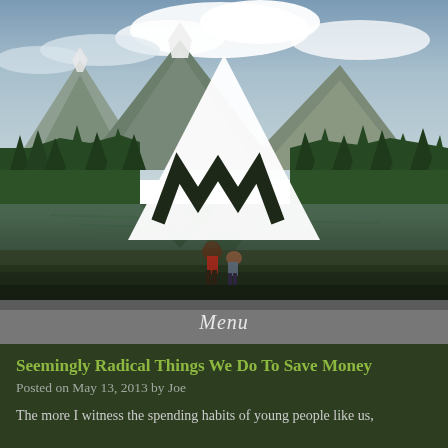[Figure (photo): Mountain landscape with lake, evergreen trees, rocky peaks under cloudy sky, with two children standing at water's edge. A white mountain/W logo is overlaid in the center of the image.]
Menu
Seemingly Radical Things We Do To Save Money
Posted on May 13, 2013 by Joe
The more I witness the spending habits of young people like us,